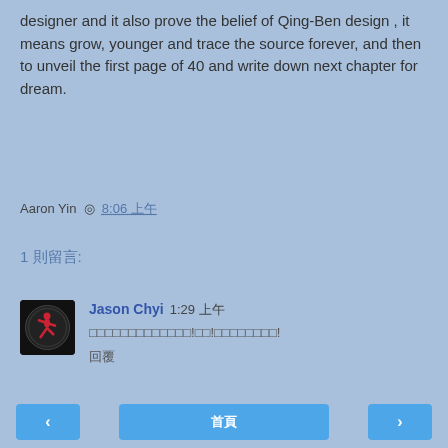designer  and it also prove the belief of  Qing-Ben design , it means grow, younger and trace the source forever, and then to unveil the first page of 40 and write down next chapter for dream.
Aaron Yin  ◎  8:06 上午
1 則留言:
Jason Chyi  1:29 上午
□□□□□□□□□□□□□!□□!□□□□□□□□!
回覆
□□□□
‹  首頁  ›